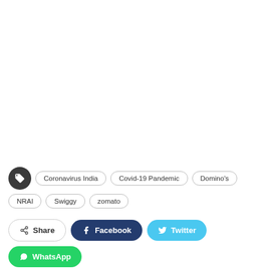[Figure (other): Blank white top section of a webpage]
Coronavirus India · Covid-19 Pandemic · Domino's · NRAI · Swiggy · zomato
Share  Facebook  Twitter  WhatsApp
Shreya Ambre · 569 Posts · 0